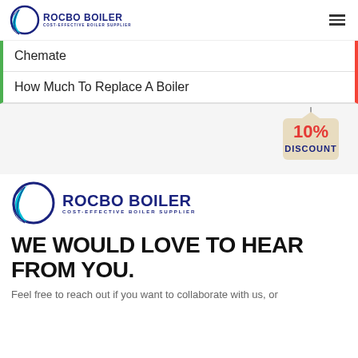[Figure (logo): Rocbo Boiler logo with crescent moon icon and text 'ROCBO BOILER / COST-EFFECTIVE BOILER SUPPLIER' in blue, top-left header]
Chemate
How Much To Replace A Boiler
[Figure (illustration): 10% DISCOUNT badge/tag hanging from string, beige background with red '10%' and blue 'DISCOUNT' text]
[Figure (logo): Large Rocbo Boiler logo with crescent moon icon and text 'ROCBO BOILER / COST-EFFECTIVE BOILER SUPPLIER' in blue]
WE WOULD LOVE TO HEAR FROM YOU.
Feel free to reach out if you want to collaborate with us, or